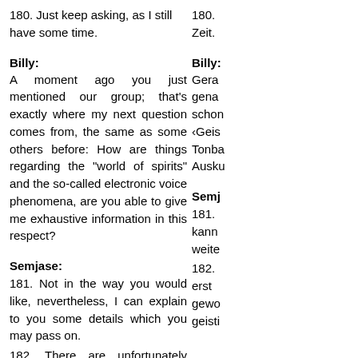180. Just keep asking, as I still have some time.
180. [German text, partially visible] Zeit.
Billy:
A moment ago you just mentioned our group; that's exactly where my next question comes from, the same as some others before: How are things regarding the "world of spirits" and the so-called electronic voice phenomena, are you able to give me exhaustive information in this respect?
Billy:
Gerade [German text partially visible] genau schon <Geis Tonba Ausku
Semjase:
181. Not in the way you would like, nevertheless, I can explain to you some details which you may pass on.
182. There are unfortunately many things that a human being may only come to know after he/she has become spiritually thinking and the spiritual knowledge and spiritual essence of wisdom have developed into the must-have form.
Semjase:
181. [German] kann weite
182. erst gewo geisti